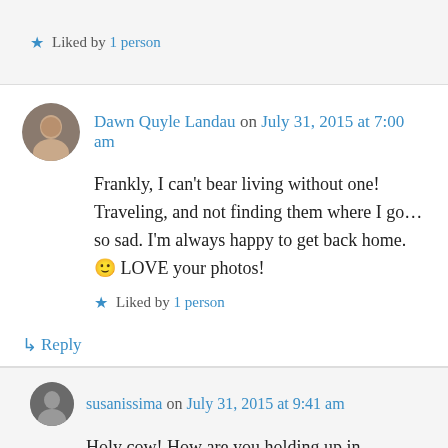★ Liked by 1 person
Dawn Quyle Landau on July 31, 2015 at 7:00 am
Frankly, I can't bear living without one! Traveling, and not finding them where I go… so sad. I'm always happy to get back home. 🙂 LOVE your photos!
★ Liked by 1 person
↳ Reply
susanissima on July 31, 2015 at 9:41 am
Holy cow! How are you holding up in